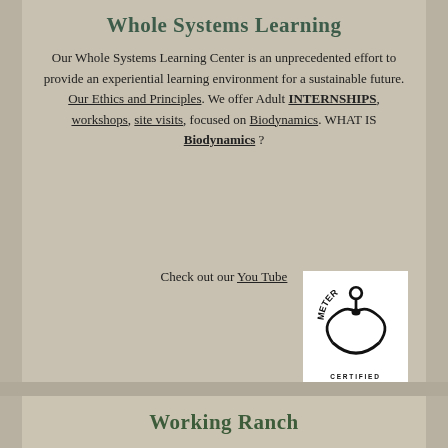Whole Systems Learning
Our Whole Systems Learning Center is an unprecedented effort to provide an experiential learning environment for a sustainable future. Our Ethics and Principles. We offer Adult INTERNSHIPS, workshops, site visits, focused on Biodynamics. WHAT IS Biodynamics ?
[Figure (logo): Demeter Certified Biodynamic logo — circular emblem with stylized plant/seed figure inside crescent bowl, surrounded by the word DEMETER, with text CERTIFIED BIODYNAMIC below]
Check out our You Tube
Learn More
Working Ranch